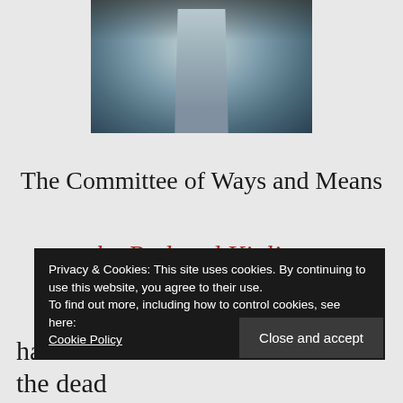[Figure (photo): A photograph showing a person in a blue/grey flowing garment or cloak, partially cropped at the top]
The Committee of Ways and Means
by Rudyard Kipling
Privacy & Cookies: This site uses cookies. By continuing to use this website, you agree to their use.
To find out more, including how to control cookies, see here: Cookie Policy
Close and accept
had run out of black horses and the dead